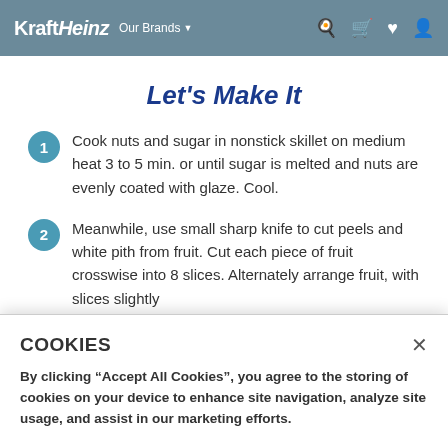KraftHeinz Our Brands
Let's Make It
Cook nuts and sugar in nonstick skillet on medium heat 3 to 5 min. or until sugar is melted and nuts are evenly coated with glaze. Cool.
Meanwhile, use small sharp knife to cut peels and white pith from fruit. Cut each piece of fruit crosswise into 8 slices. Alternately arrange fruit, with slices slightly
COOKIES
By clicking “Accept All Cookies”, you agree to the storing of cookies on your device to enhance site navigation, analyze site usage, and assist in our marketing efforts.